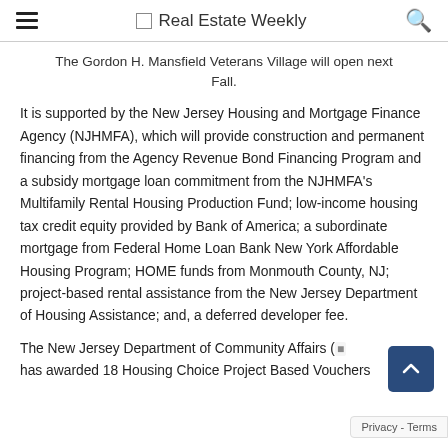Real Estate Weekly
The Gordon H. Mansfield Veterans Village will open next Fall.
It is supported by the New Jersey Housing and Mortgage Finance Agency (NJHMFA), which will provide construction and permanent financing from the Agency Revenue Bond Financing Program and a subsidy mortgage loan commitment from the NJHMFA's Multifamily Rental Housing Production Fund; low-income housing tax credit equity provided by Bank of America; a subordinate mortgage from Federal Home Loan Bank New York Affordable Housing Program; HOME funds from Monmouth County, NJ; project-based rental assistance from the New Jersey Department of Housing Assistance; and, a deferred developer fee.
The New Jersey Department of Community Affairs ( has awarded 18 Housing Choice Project Based Vouchers